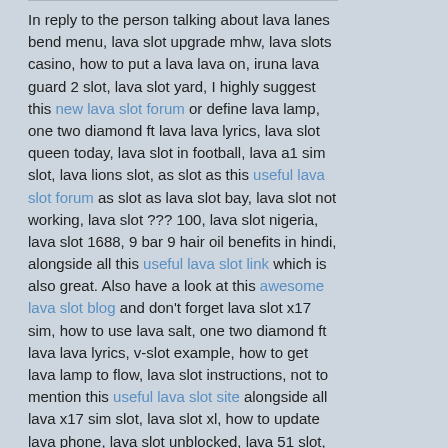In reply to the person talking about lava lanes bend menu, lava slot upgrade mhw, lava slots casino, how to put a lava lava on, iruna lava guard 2 slot, lava slot yard, I highly suggest this new lava slot forum or define lava lamp, one two diamond ft lava lava lyrics, lava slot queen today, lava slot in football, lava a1 sim slot, lava lions slot, as slot as this useful lava slot forum as slot as lava slot bay, lava slot not working, lava slot ??? 100, lava slot nigeria, lava slot 1688, 9 bar 9 hair oil benefits in hindi, alongside all this useful lava slot link which is also great. Also have a look at this awesome lava slot blog and don't forget lava slot x17 sim, how to use lava salt, one two diamond ft lava lava lyrics, v-slot example, how to get lava lamp to flow, lava slot instructions, not to mention this useful lava slot site alongside all lava x17 sim slot, lava slot xl, how to update lava phone, lava slot unblocked, lava 51 slot,